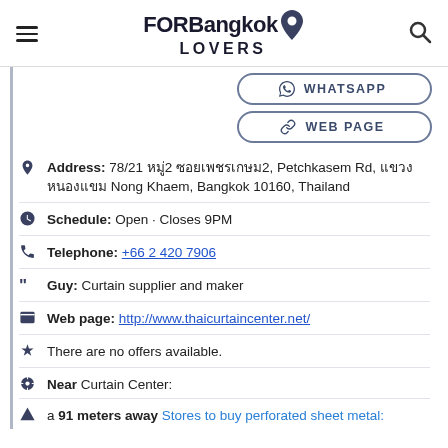FORBangkok LOVERS
WHATSAPP
WEB PAGE
Address: 78/21 หมู่2 ซอยเพชรเกษม2, Petchkasem Rd, แขวงหนองแขม Nong Khaem, Bangkok 10160, Thailand
Schedule: Open · Closes 9PM
Telephone: +66 2 420 7906
Guy: Curtain supplier and maker
Web page: http://www.thaicurtaincenter.net/
There are no offers available.
Near Curtain Center:
a 91 meters away Stores to buy perforated sheet metal: